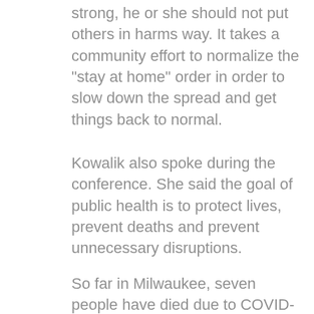strong, he or she should not put others in harms way. It takes a community effort to normalize the "stay at home" order in order to slow down the spread and get things back to normal.
Kowalik also spoke during the conference. She said the goal of public health is to protect lives, prevent deaths and prevent unnecessary disruptions.
So far in Milwaukee, seven people have died due to COVID-19.
[Figure (photo): Close-up photograph of an elderly man with white/grey hair, shown from the shoulders up, with a dark brown blurred background.]
“Releasing an order is extremely important,